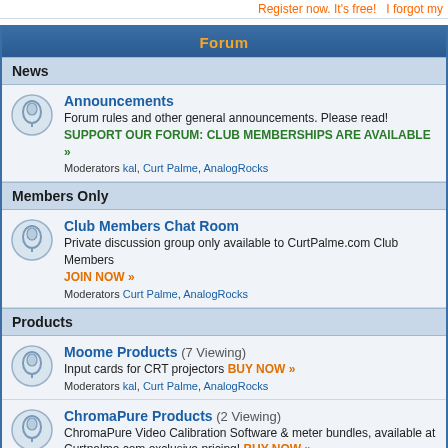Register now. It's free!   I forgot my
Forum
News
Announcements
Forum rules and other general announcements. Please read!
SUPPORT OUR FORUM: CLUB MEMBERSHIPS ARE AVAILABLE »
Moderators kal, Curt Palme, AnalogRocks
Members Only
Club Members Chat Room
Private discussion group only available to CurtPalme.com Club Members
JOIN NOW »
Moderators Curt Palme, AnalogRocks
Products
Moome Products (7 Viewing)
Input cards for CRT projectors BUY NOW »
Moderators kal, Curt Palme, AnalogRocks
ChromaPure Products (2 Viewing)
ChromaPure Video Calibration Software & meter bundles, available at Curtpalme.com exclusive pricing! BUY NOW »
Moderators kal, Curt Palme, AnalogRocks
Lumagen Products
Radiance advanced video processors available at Curtpalme.com exclusive pricing! BUY NOW »
Moderators kal, Curt Palme, AnalogRocks
Crescendo-Systems Products (2 Viewing)
High end loudspeakers, audio amplifiers, bass management, phono pre-